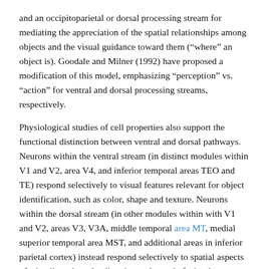and an occipitoparietal or dorsal processing stream for mediating the appreciation of the spatial relationships among objects and the visual guidance toward them (“where” an object is). Goodale and Milner (1992) have proposed a modification of this model, emphasizing “perception” vs. “action” for ventral and dorsal processing streams, respectively.
Physiological studies of cell properties also support the functional distinction between ventral and dorsal pathways. Neurons within the ventral stream (in distinct modules within V1 and V2, area V4, and inferior temporal areas TEO and TE) respond selectively to visual features relevant for object identification, such as color, shape and texture. Neurons within the dorsal stream (in other modules within with V1 and V2, areas V3, V3A, middle temporal area MT, medial superior temporal area MST, and additional areas in inferior parietal cortex) instead respond selectively to spatial aspects of stimuli, such as the direction and speed of stimulus motion. Such cells also respond when the animal visually tracks a moving target.
Although the two-stream idea has served as a useful scheme with which to understand the organization of the visual system, it is an oversimplification in several ways. For instance, some areas in the